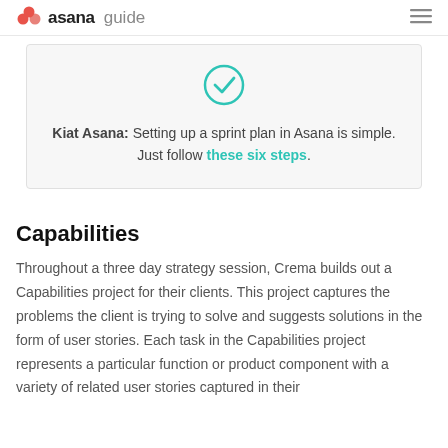asana guide
[Figure (illustration): Teal circle with a checkmark icon inside a light gray callout box]
Kiat Asana: Setting up a sprint plan in Asana is simple. Just follow these six steps.
Capabilities
Throughout a three day strategy session, Crema builds out a Capabilities project for their clients. This project captures the problems the client is trying to solve and suggests solutions in the form of user stories. Each task in the Capabilities project represents a particular function or product component with a variety of related user stories captured in their